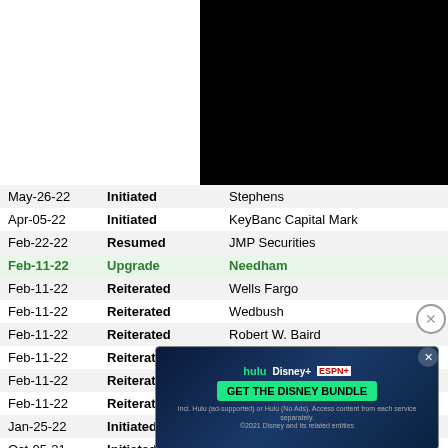[Figure (other): Black rectangle covering top-right area of page]
| Date | Action | Firm |
| --- | --- | --- |
| May-26-22 | Initiated | Stephens |
| Apr-05-22 | Initiated | KeyBanc Capital Mark... |
| Feb-22-22 | Resumed | JMP Securities |
| Feb-11-22 | Upgrade | Needham |
| Feb-11-22 | Reiterated | Wells Fargo |
| Feb-11-22 | Reiterated | Wedbush |
| Feb-11-22 | Reiterated | Robert W. Baird |
| Feb-11-22 | Reiterated | Mizuho |
| Feb-11-22 | Reiterated | Guggenheim |
| Feb-11-22 | Reiterated | Barclays |
| Jan-25-22 | Initiated | Citigroup |
| Oct-05-21 | Initiated | Wells Fargo |
| Aug-06-21 | Initiated | Wolfe Research |
| Jul-19-21 | Initiated | ...Securities |
| May-25-21 | ... | ... |
| Apr-02-21 | ... | ...Baird |
| Feb-11-21 | Reiterated | ... |
| Jan-12-21 | Upgrade | GA Davidson |
[Figure (other): Disney Bundle advertisement overlay]